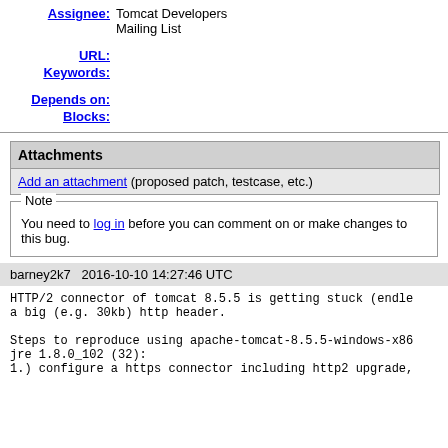Assignee: Tomcat Developers Mailing List
URL:
Keywords:
Depends on:
Blocks:
| Attachments |
| --- |
| Add an attachment (proposed patch, testcase, etc.) |
Note
You need to log in before you can comment on or make changes to this bug.
barney2k7   2016-10-10 14:27:46 UTC
HTTP/2 connector of tomcat 8.5.5 is getting stuck (endle
a big (e.g. 30kb) http header.

Steps to reproduce using apache-tomcat-8.5.5-windows-x86
jre 1.8.0_102 (32):
1.) configure a https connector including http2 upgrade,